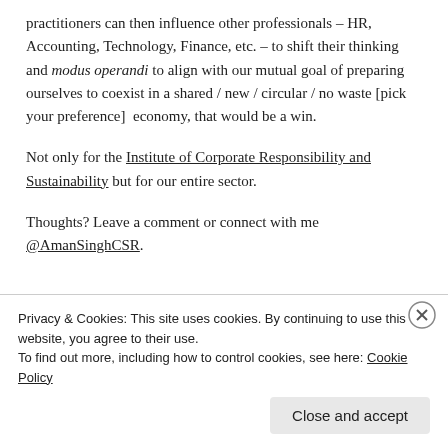practitioners can then influence other professionals – HR, Accounting, Technology, Finance, etc. – to shift their thinking and modus operandi to align with our mutual goal of preparing ourselves to coexist in a shared / new / circular / no waste [pick your preference]  economy, that would be a win.
Not only for the Institute of Corporate Responsibility and Sustainability but for our entire sector.
Thoughts? Leave a comment or connect with me @AmanSinghCSR.
Privacy & Cookies: This site uses cookies. By continuing to use this website, you agree to their use. To find out more, including how to control cookies, see here: Cookie Policy